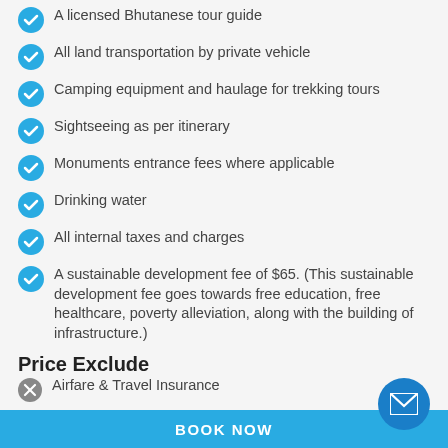A licensed Bhutanese tour guide
All land transportation by private vehicle
Camping equipment and haulage for trekking tours
Sightseeing as per itinerary
Monuments entrance fees where applicable
Drinking water
All internal taxes and charges
A sustainable development fee of $65. (This sustainable development fee goes towards free education, free healthcare, poverty alleviation, along with the building of infrastructure.)
Price Exclude
Airfare & Travel Insurance
Expenses of personal nature, Tips to guides and drivers
Expenses occurred due to unavoidable events, wrecks, flight delays etc.
BOOK NOW